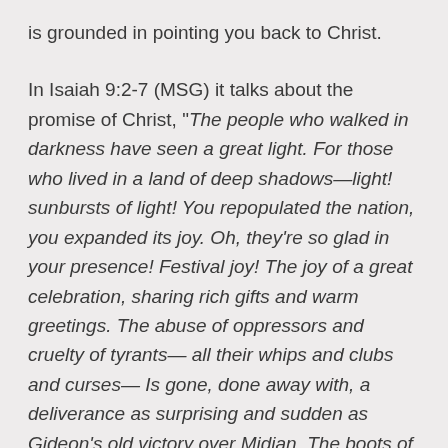is grounded in pointing you back to Christ.
In Isaiah 9:2-7 (MSG) it talks about the promise of Christ, "The people who walked in darkness have seen a great light. For those who lived in a land of deep shadows—light! sunbursts of light! You repopulated the nation, you expanded its joy. Oh, they're so glad in your presence! Festival joy! The joy of a great celebration, sharing rich gifts and warm greetings. The abuse of oppressors and cruelty of tyrants— all their whips and clubs and curses— Is gone, done away with, a deliverance as surprising and sudden as Gideon's old victory over Midian. The boots of all those invading troops, along with their shirts soaked with innocent blood, will be piled high and burned, a fire that will"